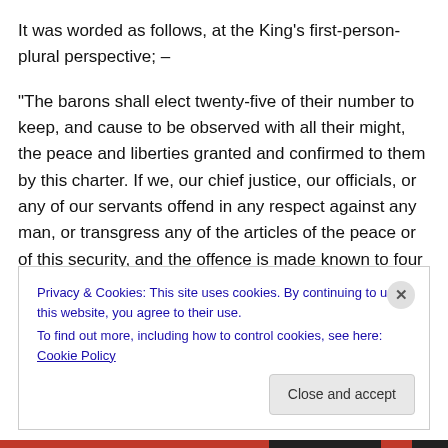It was worded as follows, at the King's first-person-plural perspective; –
“The barons shall elect twenty-five of their number to keep, and cause to be observed with all their might, the peace and liberties granted and confirmed to them by this charter. If we, our chief justice, our officials, or any of our servants offend in any respect against any man, or transgress any of the articles of the peace or of this security, and the offence is made known to four of the said twenty-five barons, they shall come to us – or in our
Privacy & Cookies: This site uses cookies. By continuing to use this website, you agree to their use.
To find out more, including how to control cookies, see here: Cookie Policy